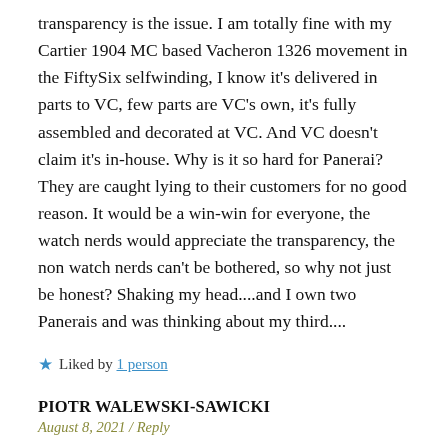transparency is the issue. I am totally fine with my Cartier 1904 MC based Vacheron 1326 movement in the FiftySix selfwinding, I know it's delivered in parts to VC, few parts are VC's own, it's fully assembled and decorated at VC. And VC doesn't claim it's in-house. Why is it so hard for Panerai? They are caught lying to their customers for no good reason. It would be a win-win for everyone, the watch nerds would appreciate the transparency, the non watch nerds can't be bothered, so why not just be honest? Shaking my head....and I own two Panerais and was thinking about my third....
Liked by 1 person
PIOTR WALEWSKI-SAWICKI
August 8, 2021 / Reply